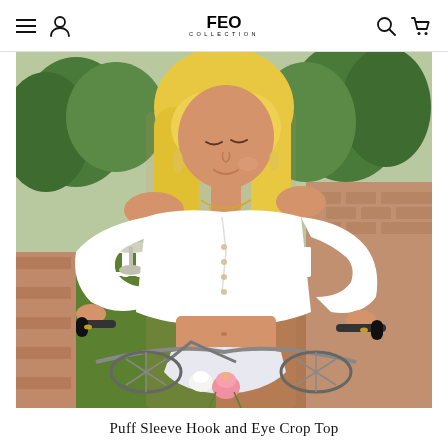FEO COLLECTION — navigation bar with menu, account, logo, search, cart icons
[Figure (photo): A young blonde woman wearing a white off-shoulder puff sleeve hook and eye crop top and white bikini bottoms, standing with a bicycle on a brick sidewalk with green garden in the background. Pink and white roses are visible in the bicycle basket area.]
Puff Sleeve Hook and Eye Crop Top